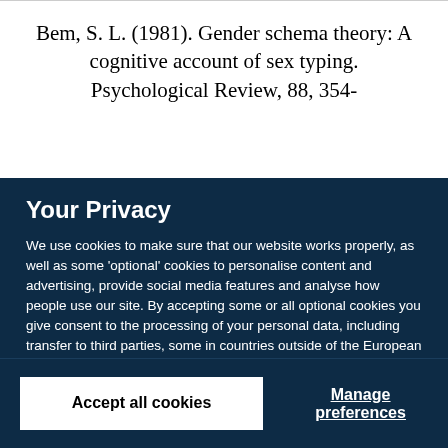Bem, S. L. (1981). Gender schema theory: A cognitive account of sex typing. Psychological Review, 88, 354-
Your Privacy
We use cookies to make sure that our website works properly, as well as some 'optional' cookies to personalise content and advertising, provide social media features and analyse how people use our site. By accepting some or all optional cookies you give consent to the processing of your personal data, including transfer to third parties, some in countries outside of the European Economic Area that do not offer the same data protection standards as the country where you live. You can decide which optional cookies to accept by clicking on 'Manage Settings', where you can also find more information about how your personal data is processed. Further information can be found in our privacy policy.
Accept all cookies
Manage preferences